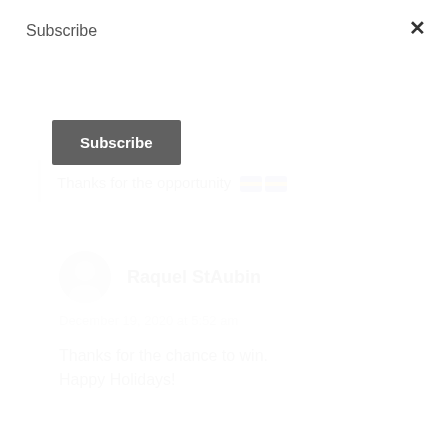Subscribe
×
Subscribe
Thanks for the opportunity 🏳️‍🌈🏳️‍🌈
Raquel StAubin
December 19, 2020 at 5:52 am
Thanks for the chance to win. Happy Holidays!